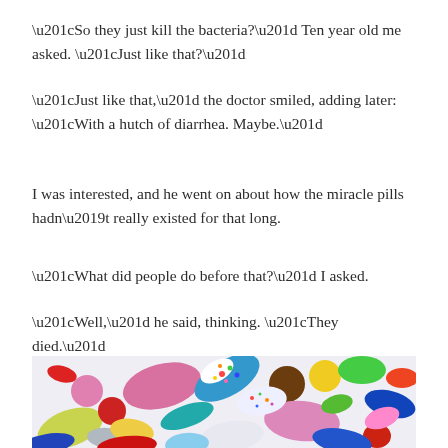“So they just kill the bacteria?” Ten year old me asked. “Just like that?”
“Just like that,” the doctor smiled, adding later: “With a hutch of diarrhea. Maybe.”
I was interested, and he went on about how the miracle pills hadn’t really existed for that long.
“What did people do before that?” I asked.
“Well,” he said, thinking. “They died.”
[Figure (photo): A colorful pile of various pills, tablets, and capsules in many colors including red, blue, yellow, pink, green, and white scattered together.]